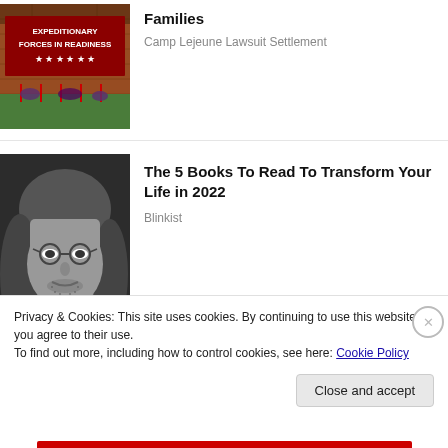[Figure (photo): Military sign reading EXPEDITIONARY FORCES IN READINESS with stars below, brick wall background with small flags or markers]
Families
Camp Lejeune Lawsuit Settlement
[Figure (photo): Black and white portrait photo of a young man with long hair and round glasses]
The 5 Books To Read To Transform Your Life in 2022
Blinkist
[Figure (photo): Close-up macro photo of human skin showing lip area with stubble/beard hairs]
Privacy & Cookies: This site uses cookies. By continuing to use this website, you agree to their use.
To find out more, including how to control cookies, see here: Cookie Policy
Close and accept